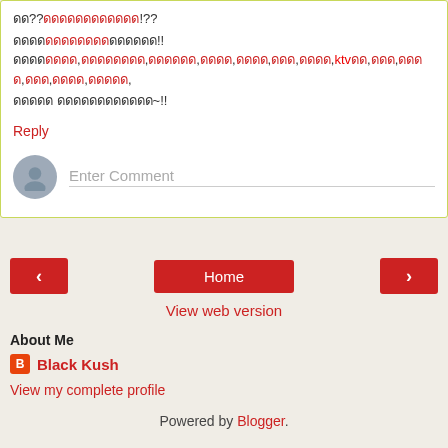ดด??ดดดดดดดดดดดด!??
ดดดดดดดดดดดดดด!!ดดดดดดดด,ดดดดดดดด,ดดดดดด,ดดดด,ดดดด,ดดด,ดดดด,ktvดด,ดดด,ดดดด,ดดด,ดดดด,ดดดดด,
ดดดดด ดดดดดดดดดดดด~!!
Reply
Enter Comment
Home
View web version
About Me
Black Kush
View my complete profile
Powered by Blogger.